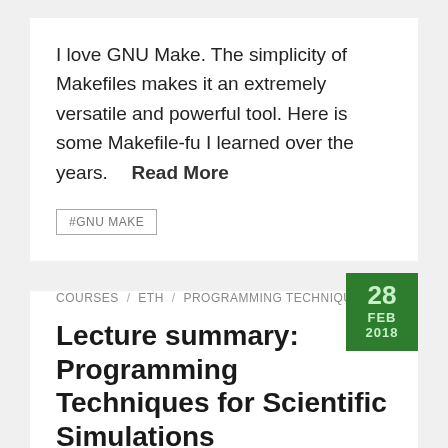I love GNU Make. The simplicity of Makefiles makes it an extremely versatile and powerful tool. Here is some Makefile-fu I learned over the years.   Read More
#GNU MAKE
COURSES / ETH / PROGRAMMING TECHNIQUES
Lecture summary: Programming Techniques for Scientific Simulations